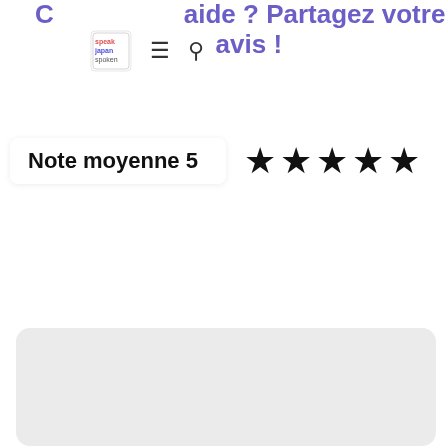aide ? Partagez votre avis !
[Figure (logo): Speak Japan Spoken logo with hamburger menu and search icon]
Note moyenne 5 ★★★★★
[Figure (other): Empty gray rounded card area]